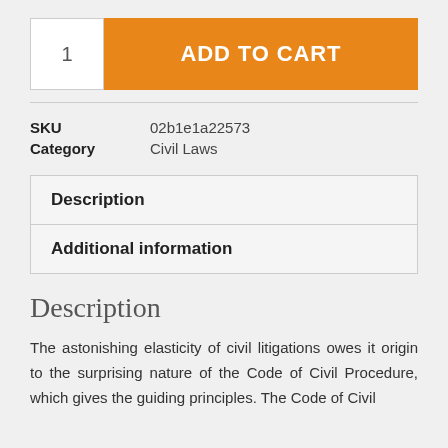1
ADD TO CART
| Field | Value |
| --- | --- |
| SKU | 02b1e1a22573 |
| Category | Civil Laws |
Description
Additional information
Description
The astonishing elasticity of civil litigations owes it origin to the surprising nature of the Code of Civil Procedure, which gives the guiding principles. The Code of Civil